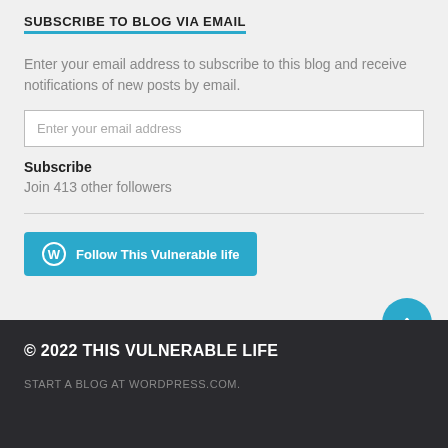SUBSCRIBE TO BLOG VIA EMAIL
Enter your email address to subscribe to this blog and receive notifications of new posts by email.
Subscribe
Join 413 other followers
Follow This Vulnerable life
© 2022 THIS VULNERABLE LIFE
START A BLOG AT WORDPRESS.COM.